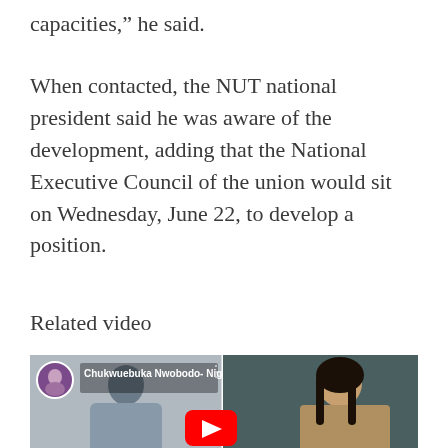capacities,” he said.
When contacted, the NUT national president said he was aware of the development, adding that the National Executive Council of the union would sit on Wednesday, June 22, to develop a position.
Related video
[Figure (screenshot): YouTube video thumbnail showing a man on the left side and a woman on the right side with a YouTube play button overlay. Video title reads: Chukwuebuka Nwobodo- Nigerian T...]